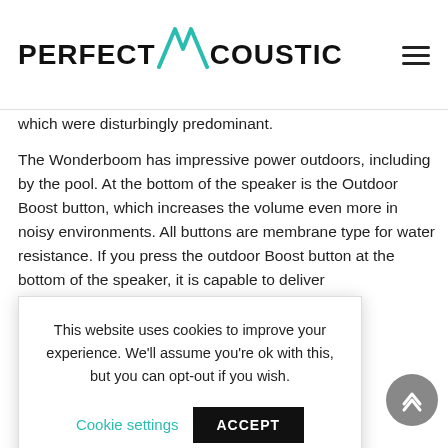PERFECT ACOUSTIC
which were disturbingly predominant.
The Wonderboom has impressive power outdoors, including by the pool. At the bottom of the speaker is the Outdoor Boost button, which increases the volume even more in noisy environments. All buttons are membrane type for water resistance. If you press the outdoor Boost button at the bottom of the speaker, it is capable to deliver ...roduces a ...that distortion ...old sway with
This website uses cookies to improve your experience. We'll assume you're ok with this, but you can opt-out if you wish.
Cookie settings   ACCEPT
m 2 is IPX6 ...ans it can ... submerged in water for up to 30